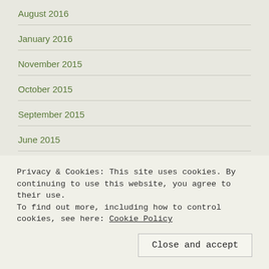August 2016
January 2016
November 2015
October 2015
September 2015
June 2015
May 2015
April 2015
February 2015
Privacy & Cookies: This site uses cookies. By continuing to use this website, you agree to their use.
To find out more, including how to control cookies, see here: Cookie Policy
Close and accept